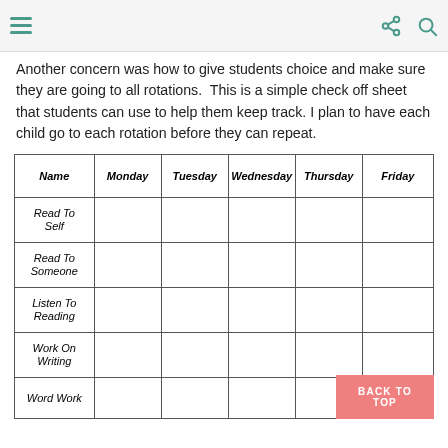Another concern was how to give students choice and make sure they are going to all rotations. This is a simple check off sheet that students can use to help them keep track. I plan to have each child go to each rotation before they can repeat.
| Name | Monday | Tuesday | Wednesday | Thursday | Friday |
| --- | --- | --- | --- | --- | --- |
| Read To Self |  |  |  |  |  |
| Read To Someone |  |  |  |  |  |
| Listen To Reading |  |  |  |  |  |
| Work On Writing |  |  |  |  |  |
| Word Work |  |  |  |  |  |